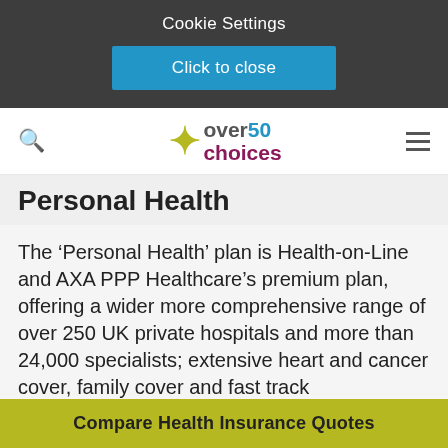Cookie Settings
Click to close
[Figure (logo): Over 50 Choices logo with stylized human figure in yellow-green, 'over' in gray, '50' in blue, 'choices' in purple]
Personal Health
The ‘Personal Health’ plan is Health-on-Line and AXA PPP Healthcare’s premium plan, offering a wider more comprehensive range of over 250 UK private hospitals and more than 24,000 specialists; extensive heart and cancer cover, family cover and fast track
Compare Health Insurance Quotes